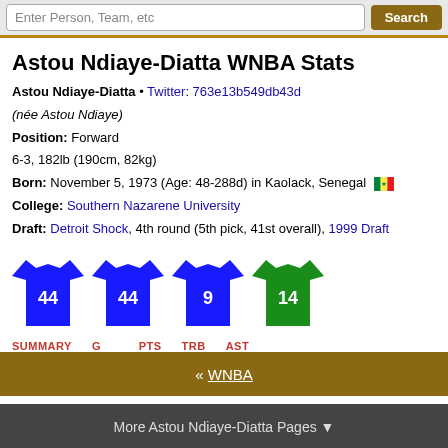Enter Person, Team, etc  Search
Astou Ndiaye-Diatta WNBA Stats
Astou Ndiaye-Diatta • Twitter: 763e13b549db43d
(née Astou Ndiaye)
Position: Forward
6-3, 182lb (190cm, 82kg)
Born: November 5, 1973 (Age: 48-288d) in Kaolack, Senegal 🇸🇳
College: Southern Nazarene University
Draft: Detroit Shock, 4th round (5th pick, 41st overall), 1999 Draft
[Figure (illustration): Four basketball jerseys: blue #44, blue #44, blue #9, green #14]
| SUMMARY | G | PTS | TRB | AST |
| --- | --- | --- | --- | --- |
| Career | 163 | 7.6 | 4.2 | 1.0 |
« WNBA
More Astou Ndiaye-Diatta Pages ▼